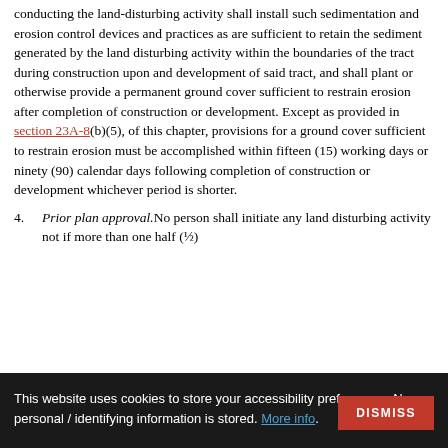conducting the land-disturbing activity shall install such sedimentation and erosion control devices and practices as are sufficient to retain the sediment generated by the land disturbing activity within the boundaries of the tract during construction upon and development of said tract, and shall plant or otherwise provide a permanent ground cover sufficient to restrain erosion after completion of construction or development. Except as provided in section 23A-8(b)(5), of this chapter, provisions for a ground cover sufficient to restrain erosion must be accomplished within fifteen (15) working days or ninety (90) calendar days following completion of construction or development whichever period is shorter.
4. Prior plan approval. No person shall initiate any land disturbing activity not if more than one half (½)...
This website uses cookies to store your accessibility preferences. No personal / identifying information is stored. More info.